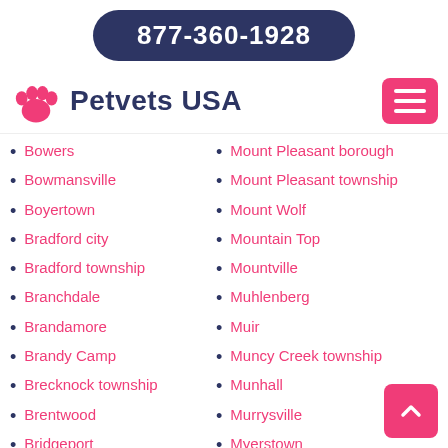877-360-1928
[Figure (logo): Petvets USA logo with pink paw print and dark navy text]
Bowers
Bowmansville
Boyertown
Bradford city
Bradford township
Branchdale
Brandamore
Brandy Camp
Brecknock township
Brentwood
Bridgeport
Bridgeville
Brighton
Mount Pleasant borough
Mount Pleasant township
Mount Wolf
Mountain Top
Mountville
Muhlenberg
Muir
Muncy Creek township
Munhall
Murrysville
Myerstown
Nanticoke